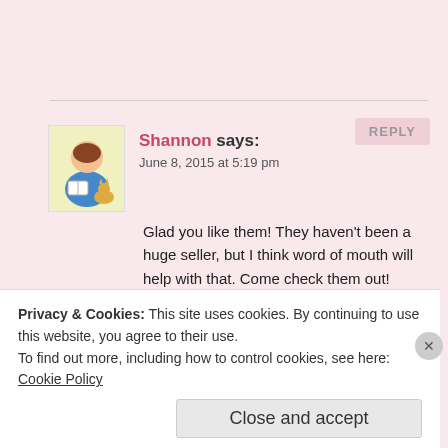Shannon says: June 8, 2015 at 5:19 pm
Glad you like them! They haven't been a huge seller, but I think word of mouth will help with that. Come check them out!
Like
REPLY
Privacy & Cookies: This site uses cookies. By continuing to use this website, you agree to their use.
To find out more, including how to control cookies, see here: Cookie Policy
Close and accept